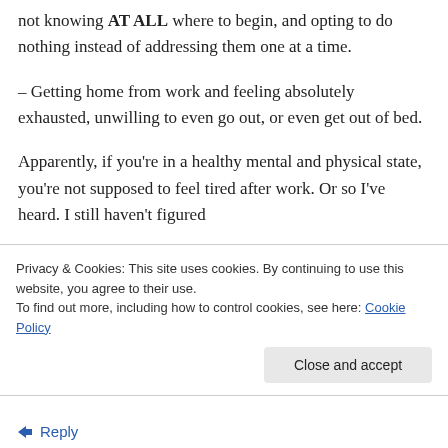not knowing AT ALL where to begin, and opting to do nothing instead of addressing them one at a time.
– Getting home from work and feeling absolutely exhausted, unwilling to even go out, or even get out of bed.
Apparently, if you're in a healthy mental and physical state, you're not supposed to feel tired after work. Or so I've heard. I still haven't figured
Privacy & Cookies: This site uses cookies. By continuing to use this website, you agree to their use.
To find out more, including how to control cookies, see here: Cookie Policy
Close and accept
Reply